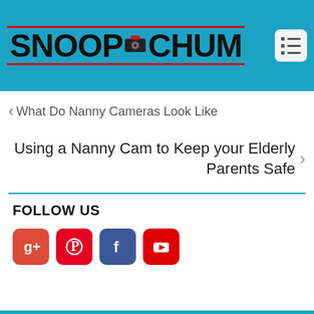[Figure (logo): SnoopChum logo on cyan/teal background with red border lines and camera icon, plus hamburger menu button]
< What Do Nanny Cameras Look Like
Using a Nanny Cam to Keep your Elderly Parents Safe >
FOLLOW US
[Figure (infographic): Social media icon buttons: Google Plus (red), Pinterest (red), Facebook (blue), YouTube (red)]